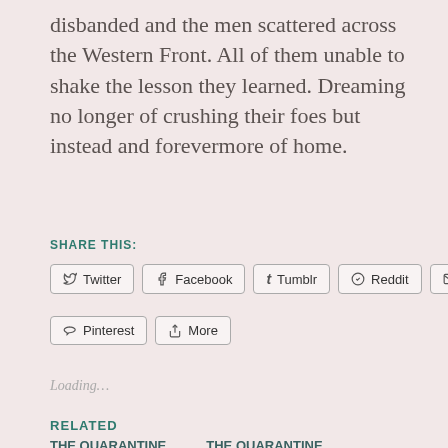disbanded and the men scattered across the Western Front. All of them unable to shake the lesson they learned. Dreaming no longer of crushing their foes but instead and forevermore of home.
SHARE THIS:
Twitter  Facebook  Tumblr  Reddit  Email  Pinterest  More
Loading…
RELATED
THE QUARANTINE  THE QUARANTINE